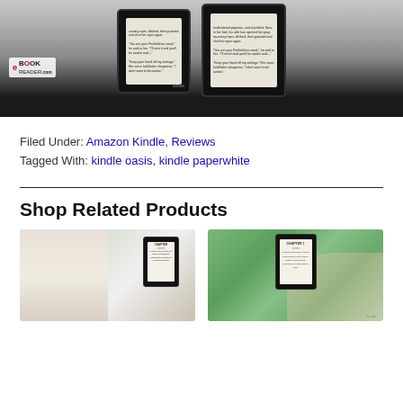[Figure (photo): Two Kindle e-readers side by side showing text on their screens, with The eBook Reader logo watermark in bottom-left, on a gray/dark background]
Filed Under: Amazon Kindle, Reviews
Tagged With: kindle oasis, kindle paperwhite
Shop Related Products
[Figure (photo): Kindle Paperwhite held by a hand over a bathtub with candles and accessories in the background]
[Figure (photo): Kindle held by a hand outdoors with green trees and blue sky in the background, showing a chapter page]